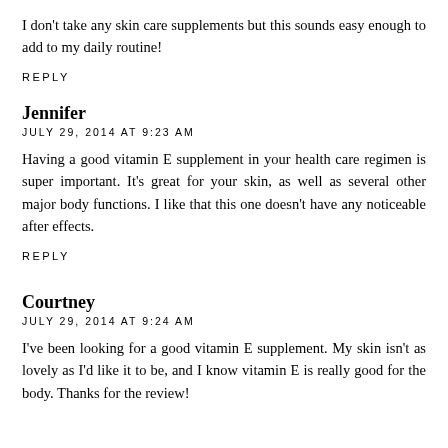I don't take any skin care supplements but this sounds easy enough to add to my daily routine!
REPLY
Jennifer
JULY 29, 2014 AT 9:23 AM
Having a good vitamin E supplement in your health care regimen is super important. It's great for your skin, as well as several other major body functions. I like that this one doesn't have any noticeable after effects.
REPLY
Courtney
JULY 29, 2014 AT 9:24 AM
I've been looking for a good vitamin E supplement. My skin isn't as lovely as I'd like it to be, and I know vitamin E is really good for the body. Thanks for the review!